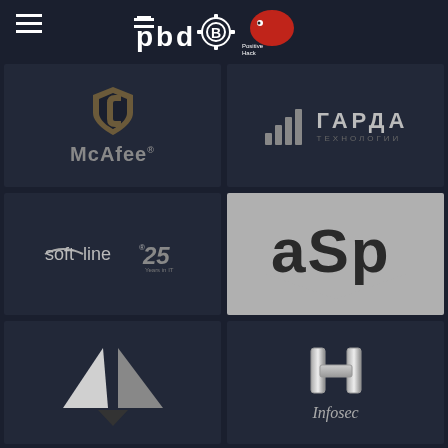[Figure (logo): Positive Hack Days (PHDays) logo with gear/bitcoin icon and red monster — white text on dark background]
[Figure (logo): McAfee logo — shield icon in gold/brown above text McAfee on dark background]
[Figure (logo): ГАРДА ТЕХНОЛОГИИ logo — bar chart icon with Russian text on dark background]
[Figure (logo): Softline 25 Years in IT logo — white text with italic 25 on dark background]
[Figure (logo): ASP logo — bold dark letters aSp on grey/silver background with shield]
[Figure (logo): Unknown brand — two white angular triangular shapes forming abstract mark on dark]
[Figure (logo): Infosec logo — metallic H-shaped icon above italic Infosec text on dark background]